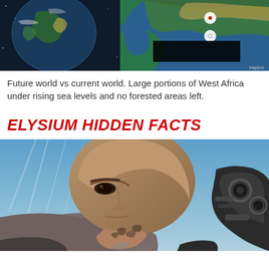[Figure (photo): Side-by-side satellite/aerial view of Africa showing future world vs current world map comparison. Left portion shows Earth from space, right portion shows satellite map of West Africa coastline with blue ocean. Black rectangle partially overlays the center-right.]
Future world vs current world. Large portions of West Africa under rising sea levels and no forested areas left.
ELYSIUM HIDDEN FACTS
[Figure (photo): Movie promotional photo from Elysium showing a bald man with neck tattoos and mechanical exoskeleton armor looking intensely to the left, with a blue sky background.]